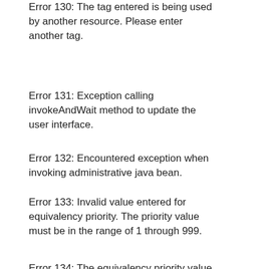Error 130: The tag entered is being used by another resource. Please enter another tag.
Error 131: Exception calling invokeAndWait method to update the user interface.
Error 132: Encountered exception when invoking administrative java bean.
Error 133: Invalid value entered for equivalency priority. The priority value must be in the range of 1 through 999.
Error 134: The equivalency priority value conflicts with another priority in the table. Each equivalency priority value must be unique in the table.
◀ Error When    GUI Network ▶